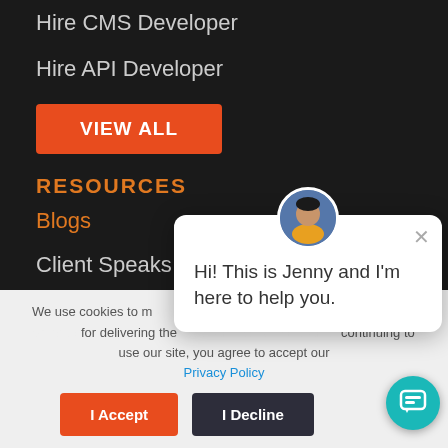Hire CMS Developer
Hire API Developer
VIEW ALL
RESOURCES
Blogs
Client Speaks
White Papers
Case Studies
Ebooks
[Figure (illustration): Chat popup with avatar of Jenny saying 'Hi! This is Jenny and I'm here to help you.' with a close button]
We use cookies to make sure you have the best experience on our website. For delivering the best services to our clients, continuing to use our site, you agree to accept our Privacy Policy
I Accept
I Decline